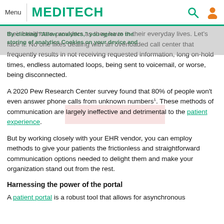Menu | MEDITECH
their healthcare providers as they have in their everyday lives. Let's face it. No one likes dealing with an overloaded call center that frequently results in not receiving requested information, long on-hold times, endless automated loops, being sent to voicemail, or worse, being disconnected.
A 2020 Pew Research Center survey found that 80% of people won't even answer phone calls from unknown numbers¹. These methods of communication are largely ineffective and detrimental to the patient experience.
But by working closely with your EHR vendor, you can employ methods to give your patients the frictionless and straightforward communication options needed to delight them and make your organization stand out from the rest.
Harnessing the power of the portal
A patient portal is a robust tool that allows for asynchronous